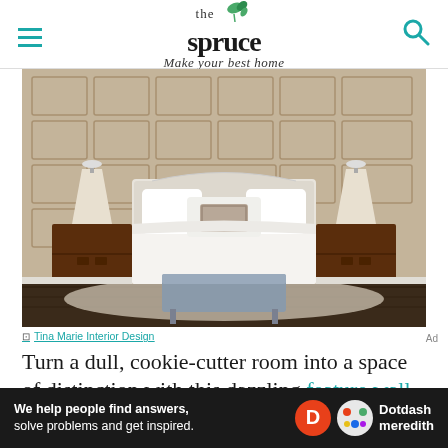the spruce — Make your best home
[Figure (photo): Elegant bedroom with a sculptured geometric feature wall in taupe/gold, a cream upholstered bed with white pillows and patterned throw cushion, dark wood nightstands with glass lamps, a grey bench at the foot of the bed, and a patterned area rug on dark hardwood floors.]
Tina Marie Interior Design
Turn a dull, cookie-cutter room into a space of distinction with this dazzling feature wall idea by Tina Marie Interior Design. The...
[Figure (logo): Dotdash Meredith advertisement banner: 'We help people find answers, solve problems and get inspired.' with Dotdash Meredith logo.]